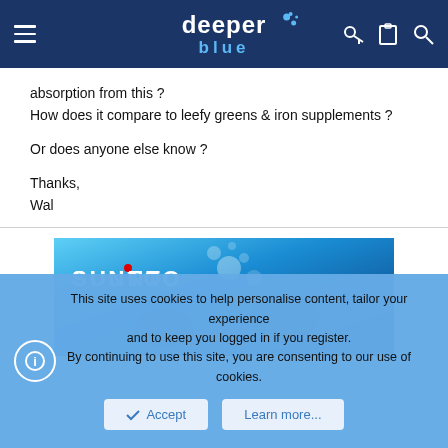deeper blue (logo)
absorption from this ?
How does it compare to leefy greens & iron supplements ?
Or does anyone else know ?
Thanks,
Wal
[Figure (photo): SUUNTO advertisement banner showing two scuba divers underwater with bubbles in a blue ocean scene]
This site uses cookies to help personalise content, tailor your experience and to keep you logged in if you register.
By continuing to use this site, you are consenting to our use of cookies.
Accept   Learn more...